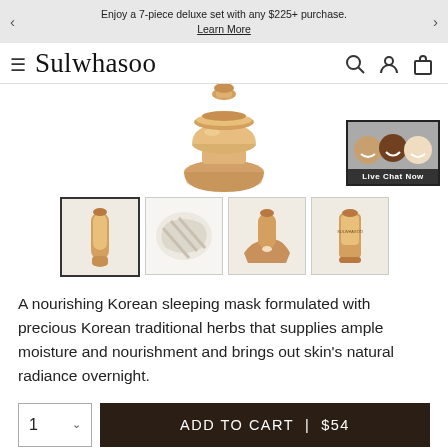Enjoy a 7-piece deluxe set with any $225+ purchase. Learn More
Sulwhasoo
[Figure (photo): Sulwhasoo product jar with gold/bronze coloring, shown from above]
[Figure (photo): Four product thumbnail images: tube product, cream texture, product being dispensed into hand, tube product close-up]
A nourishing Korean sleeping mask formulated with precious Korean traditional herbs that supplies ample moisture and nourishment and brings out skin's natural radiance overnight.
ADD TO CART | $54